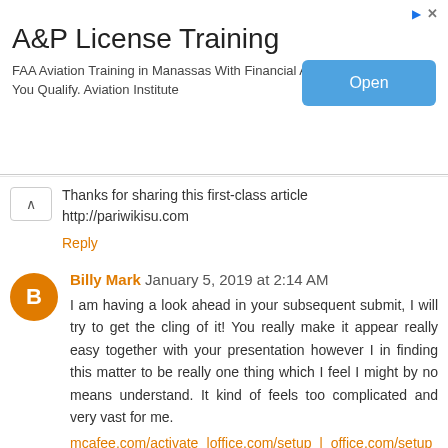[Figure (screenshot): Advertisement banner for A&P License Training. Title: 'A&P License Training'. Body: 'FAA Aviation Training in Manassas With Financial Aid If You Qualify. Aviation Institute'. Blue 'Open' button on right. Small ad icons top right.]
Thanks for sharing this first-class article http://pariwikisu.com
Reply
Billy Mark January 5, 2019 at 2:14 AM
I am having a look ahead in your subsequent submit, I will try to get the cling of it! You really make it appear really easy together with your presentation however I in finding this matter to be really one thing which I feel I might by no means understand. It kind of feels too complicated and very vast for me.
mcafee.com/activate |office.com/setup | office.com/setup | office.com/setup
Reply